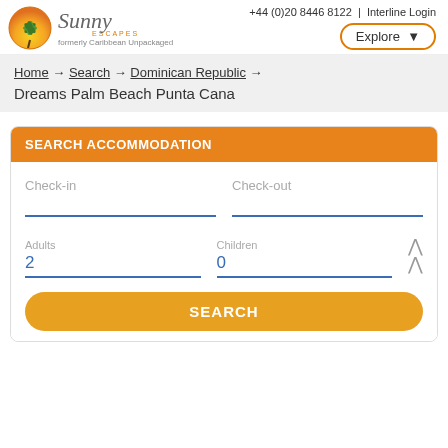+44 (0)20 8446 8122 | Interline Login
[Figure (logo): Sunny Escapes logo with palm tree in orange circle, text 'Sunny Escapes formerly Caribbean Unpackaged']
Home → Search → Dominican Republic → Dreams Palm Beach Punta Cana
SEARCH ACCOMMODATION
Check-in
Check-out
Adults
2
Children
0
SEARCH